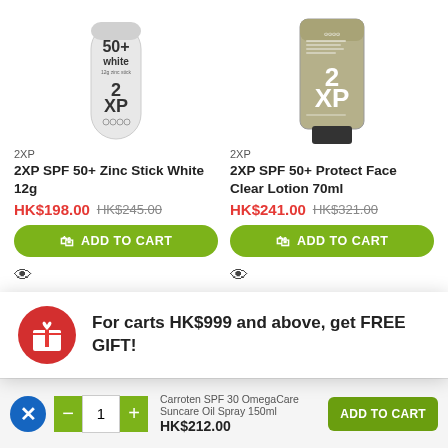[Figure (photo): 2XP SPF 50+ Zinc Stick White 12g product image]
[Figure (photo): 2XP SPF 50+ Protect Face Clear Lotion 70ml product image]
2XP
2XP SPF 50+ Zinc Stick White 12g
HK$198.00  HK$245.00
2XP
2XP SPF 50+ Protect Face Clear Lotion 70ml
HK$241.00  HK$321.00
For carts HK$999 and above, get FREE GIFT!
Carroten SPF 30 OmegaCare Suncare Oil Spray 150ml
HK$212.00